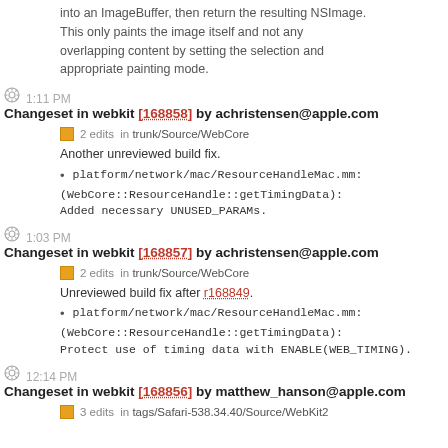into an ImageBuffer, then return the resulting NSImage. This only paints the image itself and not any overlapping content by setting the selection and appropriate painting mode.
1:11 PM Changeset in webkit [168858] by achristensen@apple.com
2 edits in trunk/Source/WebCore
Another unreviewed build fix.
platform/network/mac/ResourceHandleMac.mm:
(WebCore::ResourceHandle::getTimingData): Added necessary UNUSED_PARAMs.
1:03 PM Changeset in webkit [168857] by achristensen@apple.com
2 edits in trunk/Source/WebCore
Unreviewed build fix after r168849.
platform/network/mac/ResourceHandleMac.mm:
(WebCore::ResourceHandle::getTimingData): Protect use of timing data with ENABLE(WEB_TIMING).
12:14 PM Changeset in webkit [168856] by matthew_hanson@apple.com
3 edits in tags/Safari-538.34.40/Source/WebKit2